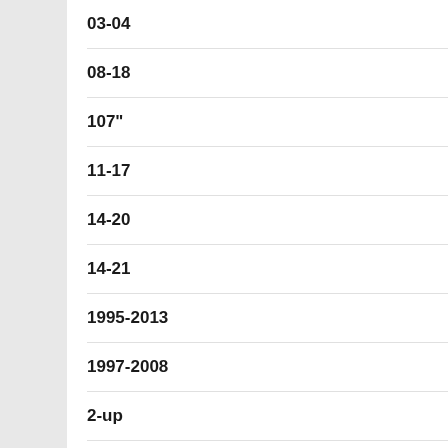03-04
08-18
107"
11-17
14-20
14-21
1995-2013
1997-2008
2-up
2014-2018
2014-2020